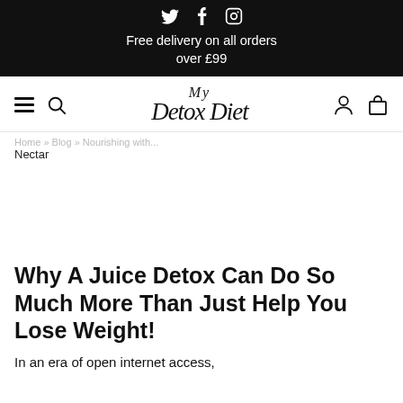Twitter Facebook Instagram social icons
Free delivery on all orders over £99
[Figure (logo): My Detox Diet logo in cursive script]
Home » Blog » Nourishing with Nectar
Why A Juice Detox Can Do So Much More Than Just Help You Lose Weight!
In an era of open internet access,